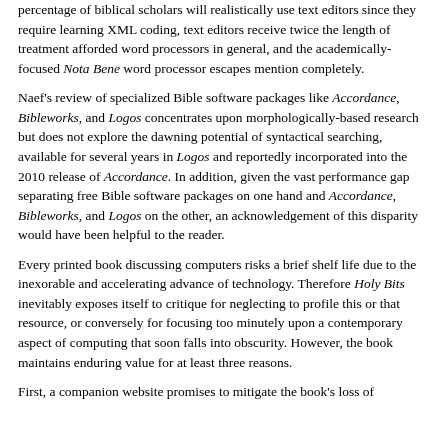percentage of biblical scholars will realistically use text editors since they require learning XML coding, text editors receive twice the length of treatment afforded word processors in general, and the academically-focused Nota Bene word processor escapes mention completely.
Naef's review of specialized Bible software packages like Accordance, Bibleworks, and Logos concentrates upon morphologically-based research but does not explore the dawning potential of syntactical searching, available for several years in Logos and reportedly incorporated into the 2010 release of Accordance. In addition, given the vast performance gap separating free Bible software packages on one hand and Accordance, Bibleworks, and Logos on the other, an acknowledgement of this disparity would have been helpful to the reader.
Every printed book discussing computers risks a brief shelf life due to the inexorable and accelerating advance of technology. Therefore Holy Bits inevitably exposes itself to critique for neglecting to profile this or that resource, or conversely for focusing too minutely upon a contemporary aspect of computing that soon falls into obscurity. However, the book maintains enduring value for at least three reasons.
First, a companion website promises to mitigate the book's loss of